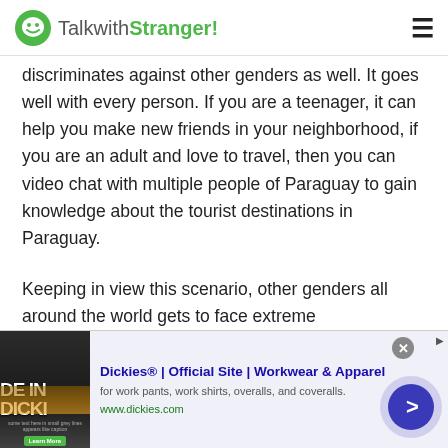TalkwithStranger!
discriminates against other genders as well. It goes well with every person. If you are a teenager, it can help you make new friends in your neighborhood, if you are an adult and love to travel, then you can video chat with multiple people of Paraguay to gain knowledge about the tourist destinations in Paraguay.
Keeping in view this scenario, other genders all around the world gets to face extreme discrimination, mental and physical abuse by the locals. People regard gay or lesbian couple as a
[Figure (screenshot): Advertisement banner for Dickies® Official Site | Workwear & Apparel. Shows 'DE IN DICKI' text on dark background image, with ad title 'Dickies® | Official Site | Workwear & Apparel', description 'for work pants, work shirts, overalls, and coveralls.', URL www.dickies.com, a close button (x), and a blue play/next arrow button.]